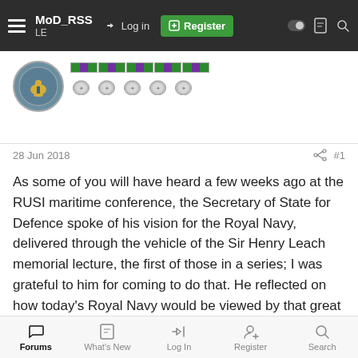MoD_RSS LE — Log in | Register
[Figure (logo): MoD RSS LE forum avatar with military badge and campaign medals with ribbons]
28 Jun 2018  #1
As some of you will have heard a few weeks ago at the RUSI maritime conference, the Secretary of State for Defence spoke of his vision for the Royal Navy, delivered through the vehicle of the Sir Henry Leach memorial lecture, the first of those in a series; I was grateful to him for coming to do that. He reflected on how today's Royal Navy would be viewed by that great post-war advocate for the value of sea power, Sir Henry Leach.
Of course, he held the office of First Sea Lord during the Falkland's conflict, that formative experience of my own Naval career. Sir
Forums | What's New | Log In | Register | Search